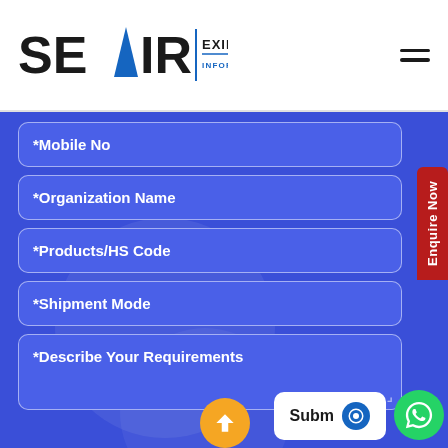[Figure (logo): SEAIR Exim Solutions logo with blue arrow and tagline 'Information for Business']
*Mobile No
*Organization Name
*Products/HS Code
*Shipment Mode
*Describe Your Requirements
Enquire Now
Submit